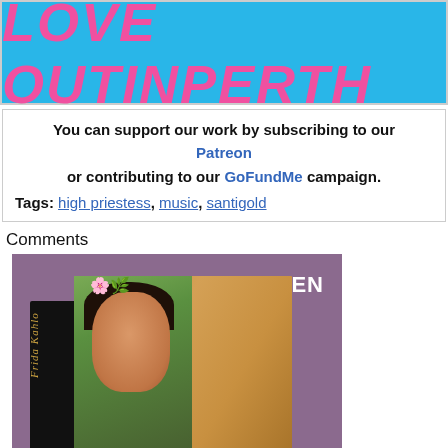[Figure (logo): Love OUTinPerth banner with pink bold italic text on light blue background]
You can support our work by subscribing to our Patreon or contributing to our GoFundMe campaign.
Tags: high priestess, music, santigold
Comments
[Figure (photo): Advertisement for TASCHEN Frida Kahlo book showing a decorative hardcover book with a portrait painting of Frida Kahlo on the cover, purple background, with Discover Now button]